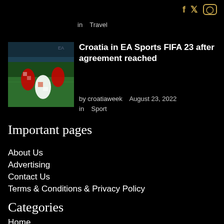Social icons: Facebook, Twitter, Instagram
in   Travel
[Figure (photo): Croatia soccer players celebrating on field in video game FIFA 23]
Croatia in EA Sports FIFA 23 after agreement reached
by croatiaweek   August 23, 2022
in   Sport
Important pages
About Us
Advertising
Contact Us
Terms & Conditions & Privacy Policy
Categories
Home